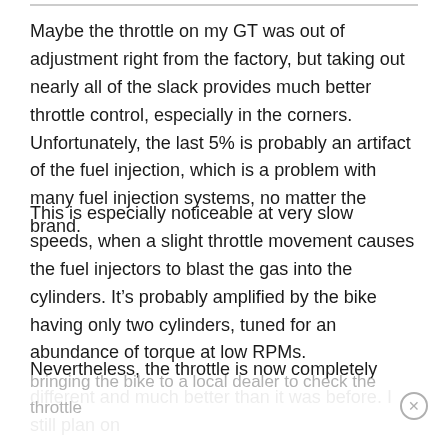Maybe the throttle on my GT was out of adjustment right from the factory, but taking out nearly all of the slack provides much better throttle control, especially in the corners.  Unfortunately, the last 5% is probably an artifact of the fuel injection, which is a problem with many fuel injection systems, no matter the brand.
This is especially noticeable at very slow speeds, when a slight throttle movement causes the fuel injectors to blast the gas into the cylinders.  It's probably amplified by the bike having only two cylinders, tuned for an abundance of torque at low RPMs.
Nevertheless, the throttle is now completely different and much better than it was before.  I still plan on
bringing the bike to a local dealer to check the throttle